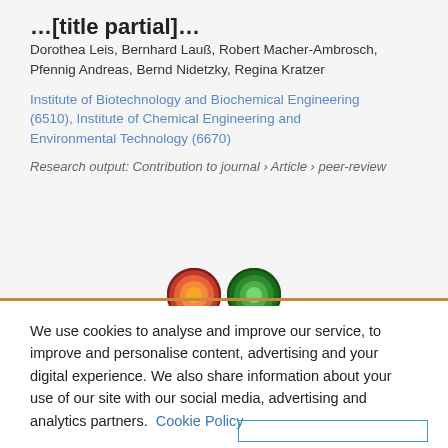…[title partial]…
Dorothea Leis, Bernhard Lauß, Robert Macher-Ambrosch, Pfennig Andreas, Bernd Nidetzky, Regina Kratzer
Institute of Biotechnology and Biochemical Engineering (6510), Institute of Chemical Engineering and Environmental Technology (6670)
Research output: Contribution to journal › Article › peer-review
[Figure (other): Two circular badge icons side by side — one orange/red and one green, with dark ring borders]
We use cookies to analyse and improve our service, to improve and personalise content, advertising and your digital experience. We also share information about your use of our site with our social media, advertising and analytics partners.  Cookie Policy